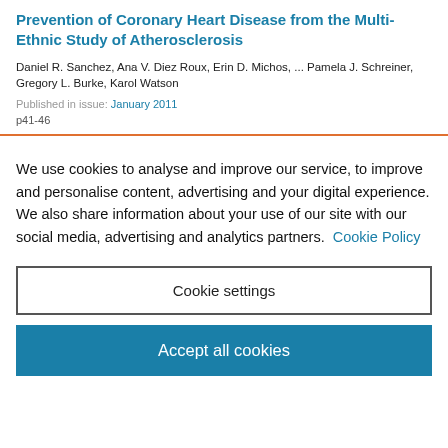Prevention of Coronary Heart Disease from the Multi-Ethnic Study of Atherosclerosis
Daniel R. Sanchez, Ana V. Diez Roux, Erin D. Michos, ... Pamela J. Schreiner, Gregory L. Burke, Karol Watson
Published in issue: January 2011
p41-46
We use cookies to analyse and improve our service, to improve and personalise content, advertising and your digital experience. We also share information about your use of our site with our social media, advertising and analytics partners. Cookie Policy
Cookie settings
Accept all cookies